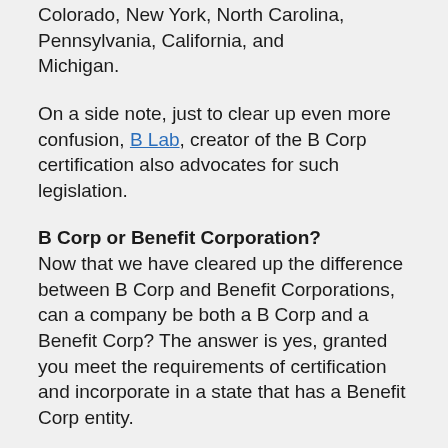Colorado, New York, North Carolina, Pennsylvania, California, and Michigan.
On a side note, just to clear up even more confusion, B Lab, creator of the B Corp certification also advocates for such legislation.
B Corp or Benefit Corporation?
Now that we have cleared up the difference between B Corp and Benefit Corporations, can a company be both a B Corp and a Benefit Corp? The answer is yes, granted you meet the requirements of certification and incorporate in a state that has a Benefit Corp entity.